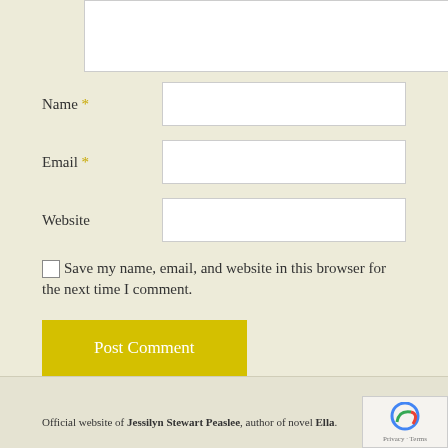[Figure (other): Partial textarea input box at top of page]
Name *
Email *
Website
Save my name, email, and website in this browser for the next time I comment.
Post Comment
Official website of Jessilyn Stewart Peaslee, author of novel Ella.